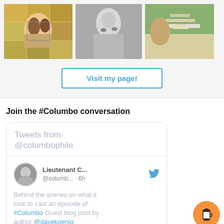[Figure (photo): Three photos in a row: first is a colored illustration of Columbo character, second is a black-and-white photo of a man, third is a color photo of a person at a food table]
Visit my page!
Join the #Columbo conversation
[Figure (screenshot): Twitter/X widget showing tweets from @columbophile. Header: 'Tweets from @columbophile'. Tweet from Lieutenant C... @columb... · 6h with Twitter bird icon. Tweet text: 'Behind the scenes on what it took to cast an episode of #Columbo Guest blog post by author @davekoenig']
[Figure (illustration): Orange circular button with coffee cup icon (Buy Me a Coffee widget)]